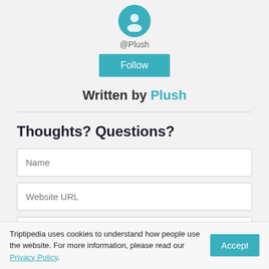[Figure (illustration): Circular teal avatar icon for user @Plush]
@Plush
Follow
Written by Plush
Thoughts? Questions?
Name
Website URL
Leave a comment
Triptipedia uses cookies to understand how people use the website. For more information, please read our Privacy Policy. Accept